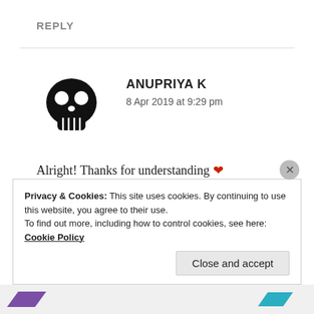REPLY
ANUPRIYA K
8 Apr 2019 at 9:29 pm
Alright! Thanks for understanding ❤ Goodnight. Sleep well!
★ Liked by 1 person
Privacy & Cookies: This site uses cookies. By continuing to use this website, you agree to their use.
To find out more, including how to control cookies, see here: Cookie Policy
Close and accept